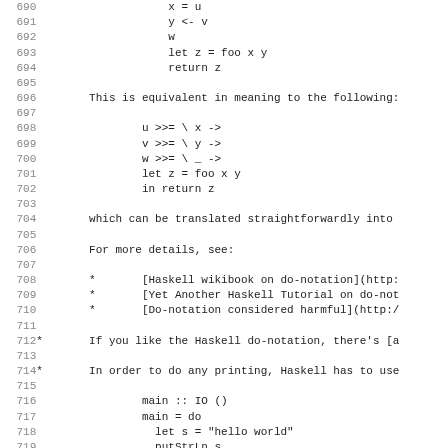Code and text lines 690-722 showing Haskell do-notation examples and explanations